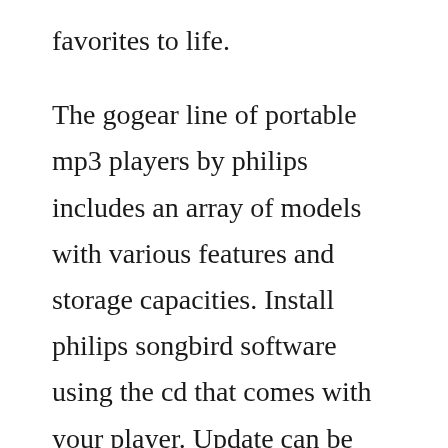favorites to life.
The gogear line of portable mp3 players by philips includes an array of models with various features and storage capacities. Install philips songbird software using the cd that comes with your player. Update can be performed via usb, as well as carried out using an active network connection. Our builtin antivirus checked this download and rated it as 100% safe. View and download philips gogear raga user manual online. Folder view is an optional directory view of the gogear